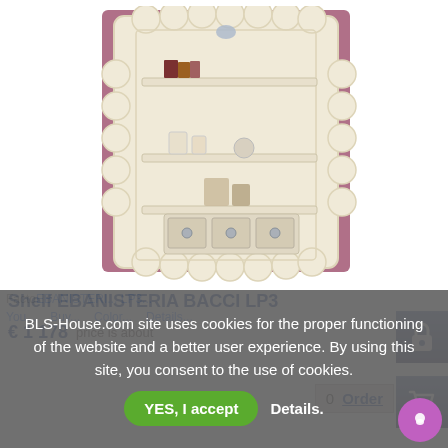[Figure (photo): A decorative cream/ivory wall shelf unit with scalloped ornate frame, three shelves with books, candles and decorative items, and three small drawers at the bottom with circular knobs. Photographed against a mauve/pink background.]
Shelf EBANISTERIA BACCI LP3
€ 1 178  price is about
0  Order
BLS-House.com site uses cookies for the proper functioning of the website and a better user experience. By using this site, you consent to the use of cookies.
YES, I accept
Details.